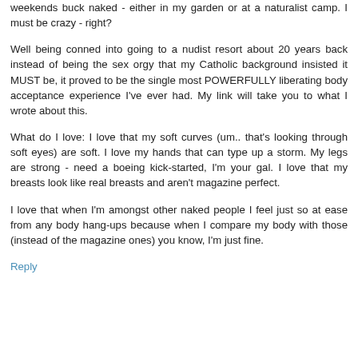weekends buck naked - either in my garden or at a naturalist camp. I must be crazy - right?
Well being conned into going to a nudist resort about 20 years back instead of being the sex orgy that my Catholic background insisted it MUST be, it proved to be the single most POWERFULLY liberating body acceptance experience I've ever had. My link will take you to what I wrote about this.
What do I love: I love that my soft curves (um.. that's looking through soft eyes) are soft. I love my hands that can type up a storm. My legs are strong - need a boeing kick-started, I'm your gal. I love that my breasts look like real breasts and aren't magazine perfect.
I love that when I'm amongst other naked people I feel just so at ease from any body hang-ups because when I compare my body with those (instead of the magazine ones) you know, I'm just fine.
Reply